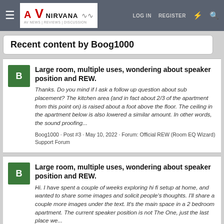AV NIRVANA — LOG IN  REGISTER
Recent content by Boog1000
Large room, multiple uses, wondering about speaker position and REW.
Thanks. Do you mind if I ask a follow up question about sub placement? The kitchen area (and in fact about 2/3 of the apartment from this point on) is raised about a foot above the floor. The ceiling in the apartment below is also lowered a similar amount. In other words, the sound proofing...
Boog1000 · Post #3 · May 10, 2022 · Forum: Official REW (Room EQ Wizard) Support Forum
Large room, multiple uses, wondering about speaker position and REW.
Hi. I have spent a couple of weeks exploring hi fi setup at home, and wanted to share some images and solicit people's thoughts. I'll share a couple more images under the text. It's the main space in a 2 bedroom apartment. The current speaker position is not The One, just the last place we...
Boog1000 · Thread · May 9, 2022 · Replies: 5 · Forum: Official REW (Room EQ Wizard) Support Forum